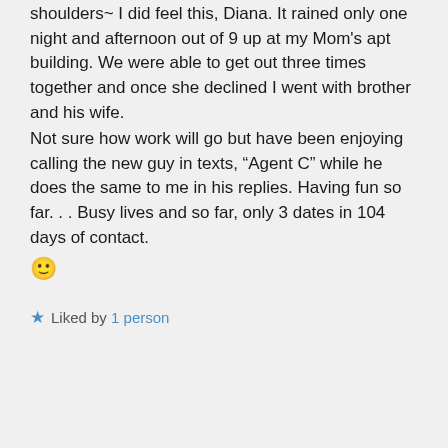shoulders~ I did feel this, Diana. It rained only one night and afternoon out of 9 up at my Mom's apt building. We were able to get out three times together and once she declined I went with brother and his wife.
Not sure how work will go but have been enjoying calling the new guy in texts, “Agent C” while he does the same to me in his replies. Having fun so far. . . Busy lives and so far, only 3 dates in 104 days of contact.
🙂
Liked by 1 person